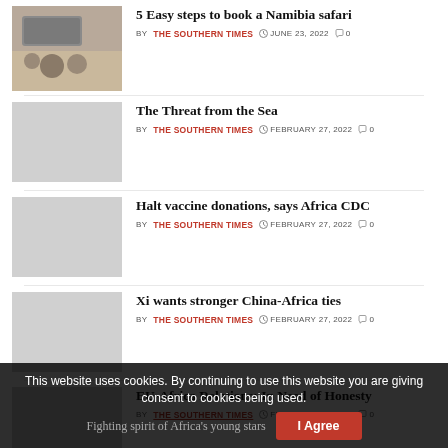5 Easy steps to book a Namibia safari
BY THE SOUTHERN TIMES  JUNE 23, 2022  0
[Figure (photo): Safari vehicle and lions on a sandy plain, Namibia]
The Threat from the Sea
BY THE SOUTHERN TIMES  FEBRUARY 27, 2022  0
[Figure (photo): Gray placeholder thumbnail]
Halt vaccine donations, says Africa CDC
BY THE SOUTHERN TIMES  FEBRUARY 27, 2022  0
[Figure (photo): Gray placeholder thumbnail]
Xi wants stronger China-Africa ties
BY THE SOUTHERN TIMES  FEBRUARY 27, 2022  0
[Figure (photo): Gray placeholder thumbnail]
EU-Africa Relations: In Need of Honesty
BY THE SOUTHERN TIMES  FEBRUARY 27, 2022  0
[Figure (photo): Gray placeholder thumbnail]
This website uses cookies. By continuing to use this website you are giving consent to cookies being used.
I Agree
Fighting spirit of Africa's young stars